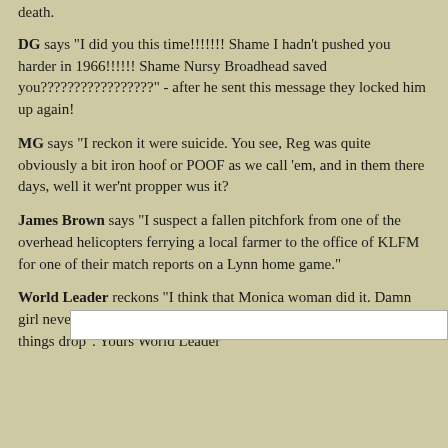death.
DG says "I did you this time!!!!!!! Shame I hadn't pushed you harder in 1966!!!!!! Shame Nursy Broadhead saved you?????????????????" - after he sent this message they locked him up again!
MG says "I reckon it were suicide. You see, Reg was quite obviously a bit iron hoof or POOF as we call 'em, and in them there days, well it wer'nt propper wus it?
James Brown says "I suspect a fallen pitchfork from one of the overhead helicopters ferrying a local farmer to the office of KLFM for one of their match reports on a Lynn home game."
World Leader reckons "I think that Monica woman did it. Damn girl never could keep her mouth shut. And she was always letting things drop". Yours World Leader